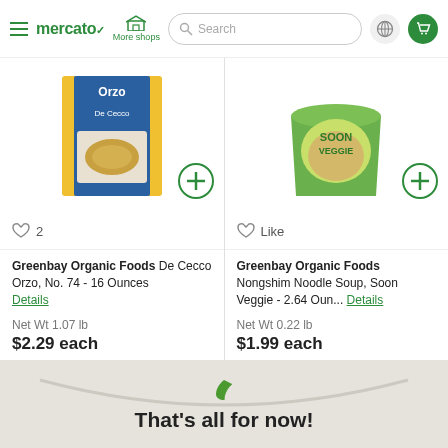mercato | More shops | Search | globe | cart
[Figure (screenshot): Product image of De Cecco Orzo pasta box (blue and yellow box)]
2
Greenbay Organic Foods De Cecco Orzo, No. 74 - 16 Ounces Details
Net Wt 1.07 lb
$2.29 each
[Figure (screenshot): Product image of Nongshim Noodle Soup, Soon Veggie cup]
Like
Greenbay Organic Foods Nongshim Noodle Soup, Soon Veggie - 2.64 Oun... Details
Net Wt 0.22 lb
$1.99 each
That's all for now!